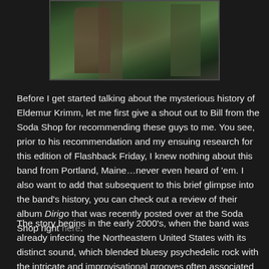[Figure (photo): Outdoor photo showing a person near trees in a wooded area]
Before I get started talking about the mysterious history of Eldemur Krimm, let me first give a shout out to Bill from the Soda Shop for recommending these guys to me. You see, prior to his recommendation and my ensuing research for this edition of Flashback Friday, I knew nothing about this band from Portland, Maine…never even heard of 'em. I also want to add that subsequent to this brief glimpse into the band's history, you can check out a review of their album Dirigo that was recently posted over at the Soda Shop right here.
The story begins in the early 2000's, when the band was already infecting the Northeastern United States with its distinct sound, which blended bluesy psychedelic rock with the intricate and improvisational grooves often associated with jam bands. Eldemur Krimm were comprised of three